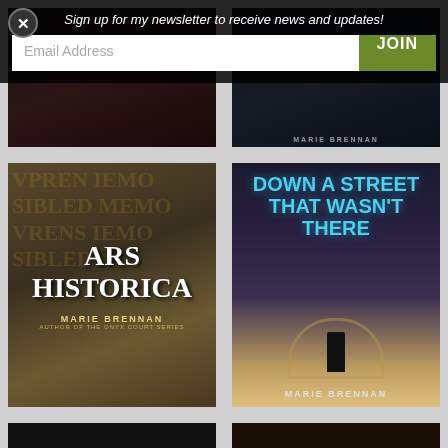[Figure (screenshot): Newsletter signup overlay on a website showing book covers by Marie Brennan. Contains a close button (X), signup text, email input field, and JOIN button. Below are book covers: Ars Historica, Down a Street That Wasn't There, New Worlds, and Writing, all by Marie Brennan.]
Sign up for my newsletter to receive news and updates!
Email Address
JOIN
ARS HISTORICA — Marie Brennan, Author of the Onyx Court Series
DOWN A STREET THAT WASN'T THERE — Marie Brennan
NEW WORLDS
WRITING